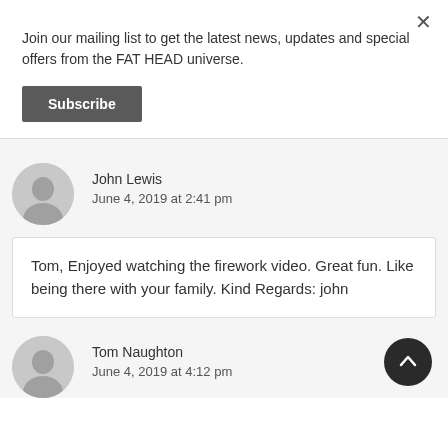Join our mailing list to get the latest news, updates and special offers from the FAT HEAD universe.
Subscribe
John Lewis
June 4, 2019 at 2:41 pm
Tom, Enjoyed watching the firework video. Great fun. Like being there with your family. Kind Regards: john
Tom Naughton
June 4, 2019 at 4:12 pm